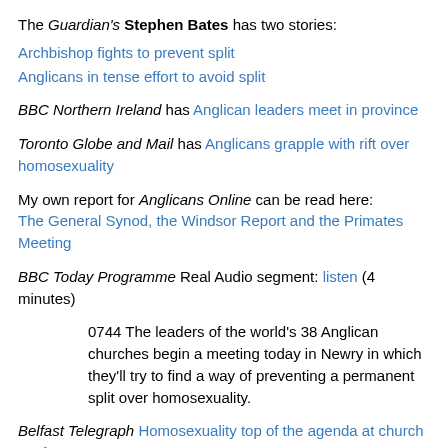The Guardian's Stephen Bates has two stories:
Archbishop fights to prevent split
Anglicans in tense effort to avoid split
BBC Northern Ireland has Anglican leaders meet in province
Toronto Globe and Mail has Anglicans grapple with rift over homosexuality
My own report for Anglicans Online can be read here: The General Synod, the Windsor Report and the Primates Meeting
BBC Today Programme Real Audio segment: listen (4 minutes)
0744 The leaders of the world's 38 Anglican churches begin a meeting today in Newry in which they'll try to find a way of preventing a permanent split over homosexuality.
Belfast Telegraph Homosexuality top of the agenda at church conference
(more...)